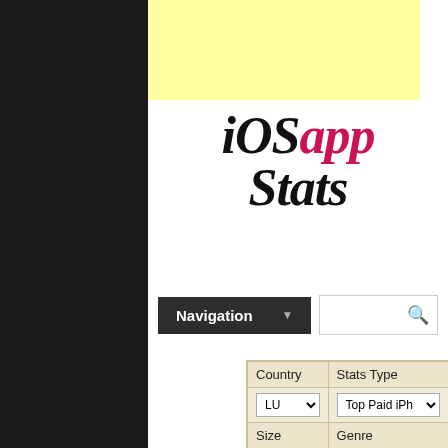[Figure (logo): iOSapp Stats logo — 'iOS' in black italic serif, 'app' in crimson/pink italic serif, 'Stats' in black italic serif]
[Figure (screenshot): Navigation dropdown button (dark background, white text, down arrow) and search box with magnifying glass icon]
| Country | Stats Type |
| --- | --- |
| LU (dropdown) | Top Paid iPh (dropdown) |
| Size | Genre |
| 25 (dropdown) | All Genres (dropdown) |